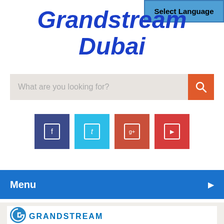[Figure (screenshot): Select Language button in top right corner, teal/blue background with bold text]
Grandstream Dubai
[Figure (screenshot): Search bar with placeholder text 'What are you looking for?' and orange search button]
[Figure (screenshot): Social media icon buttons: Facebook (dark blue), Twitter (light blue), Google+ (red-brown), YouTube (red)]
Menu
Home / VoIP Gateway / FXO Gateway / Grandstream GXW4108 Analog FXO Gateway
[Figure (logo): Grandstream logo partially visible at bottom]